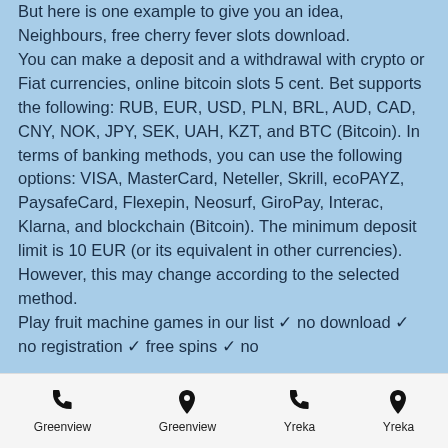But here is one example to give you an idea, Neighbours, free cherry fever slots download.
You can make a deposit and a withdrawal with crypto or Fiat currencies, online bitcoin slots 5 cent. Bet supports the following: RUB, EUR, USD, PLN, BRL, AUD, CAD, CNY, NOK, JPY, SEK, UAH, KZT, and BTC (Bitcoin). In terms of banking methods, you can use the following options: VISA, MasterCard, Neteller, Skrill, ecoPAYZ, PaysafeCard, Flexepin, Neosurf, GiroPay, Interac, Klarna, and blockchain (Bitcoin). The minimum deposit limit is 10 EUR (or its equivalent in other currencies). However, this may change according to the selected method.
Play fruit machine games in our list ✓ no download ✓ no registration ✓ free spins ✓ no
Greenview | Greenview | Yreka | Yreka